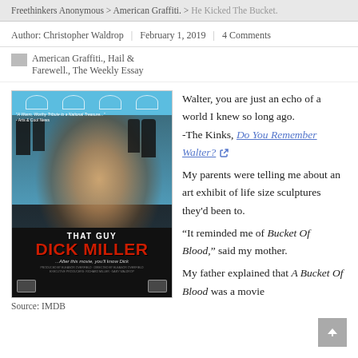Freethinkers Anonymous > American Graffiti. > He Kicked The Bucket.
Author: Christopher Waldrop | February 1, 2019 | 4 Comments
American Graffiti., Hail & Farewell., The Weekly Essay
[Figure (photo): Movie poster for 'That Guy Dick Miller' on a blue/black background with group of black-and-white figures and a smiling man in the foreground. Text reads 'A Warm, Worthy Tribute to a National Treasure... - Arts & Cool News', 'THAT GUY DICK MILLER', '...After this movie, you'll know Dick']
Source: IMDB
Walter, you are just an echo of a world I knew so long ago.
-The Kinks, Do You Remember Walter?
My parents were telling me about an art exhibit of life size sculptures they'd been to.
“It reminded me of Bucket Of Blood,” said my mother.
My father explained that A Bucket Of Blood was a movie